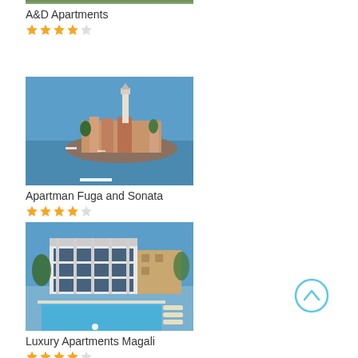[Figure (photo): Partial photo of A&D Apartments property (cropped at top)]
A&D Apartments
[Figure (other): 4-star rating (4 filled stars, 1 empty star)]
[Figure (photo): Photo of Apartman Fuga and Sonata showing a coastal town with a church tower on a peninsula, blue sky and sea]
Apartman Fuga and Sonata
[Figure (other): 4-star rating (4 filled stars, 1 empty star)]
[Figure (photo): Photo of Luxury Apartments Magali showing a modern white building with a swimming pool in front, blue sky]
Luxury Apartments Magali
[Figure (other): 4-star rating (4 filled stars, 1 empty star)]
[Figure (other): Scroll to top button — circle with upward chevron in light blue]